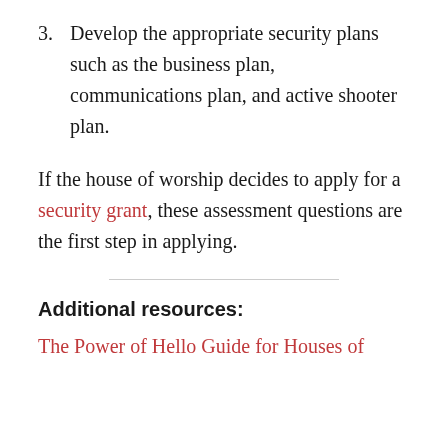3. Develop the appropriate security plans such as the business plan, communications plan, and active shooter plan.
If the house of worship decides to apply for a security grant, these assessment questions are the first step in applying.
Additional resources:
The Power of Hello Guide for Houses of